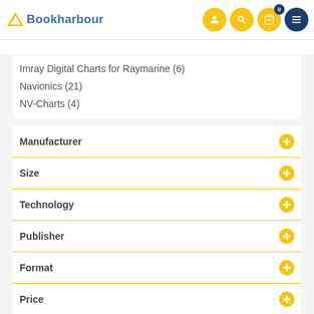Bookharbour
Imray Digital Charts for Raymarine (6)
Navionics (21)
NV-Charts (4)
Manufacturer
Size
Technology
Publisher
Format
Price